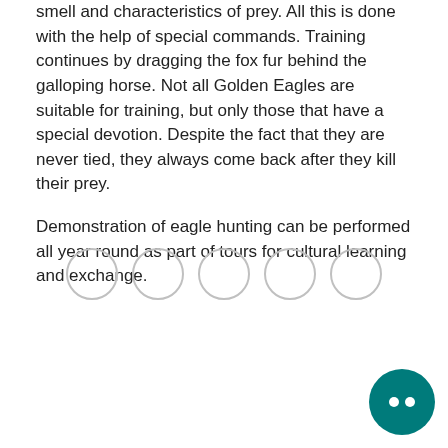smell and characteristics of prey. All this is done with the help of special commands. Training continues by dragging the fox fur behind the galloping horse. Not all Golden Eagles are suitable for training, but only those that have a special devotion. Despite the fact that they are never tied, they always come back after they kill their prey.
Demonstration of eagle hunting can be performed all year round as part of tours for cultural learning and exchange.
[Figure (other): Five empty circular dot indicators (pagination dots) arranged horizontally]
[Figure (other): Teal circular chat/help button with a colon-like icon in the bottom-right corner]